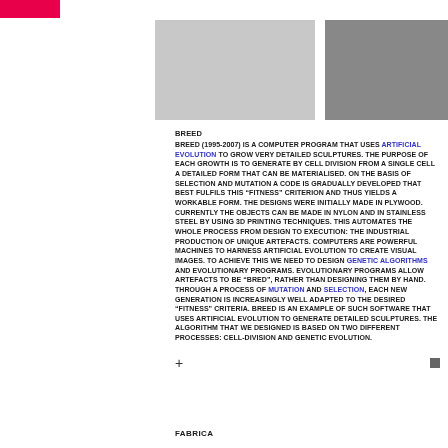[Figure (illustration): Decorative image bar at top with light gray and dark gray rectangular blocks on white/light background, with a pink/red rectangle in the top-left corner]
BREED
BREED (1995-2007) IS A COMPUTER PROGRAM THAT USES ARTIFICIAL EVOLUTION TO GROW VERY DETAILED SCULPTURES. THE PURPOSE OF EACH GROWTH IS TO GENERATE BY CELL DIVISION FROM A SINGLE CELL A DETAILED FORM THAT CAN BE MATERIALISED. ON THE BASIS OF SELECTION AND MUTATION A CODE IS GRADUALLY DEVELOPED THAT BEST FULFILS THIS "FITNESS" CRITERION AND THUS YIELDS A WORKABLE FORM. THE DESIGNS WERE INITIALLY MADE IN PLYWOOD. CURRENTLY THE OBJECTS CAN BE MADE IN NYLON AND IN STAINLESS STEEL BY USING 3D PRINTING TECHNIQUES. THIS AUTOMATES THE WHOLE PROCESS FROM DESIGN TO EXECUTION: THE INDUSTRIAL PRODUCTION OF UNIQUE ARTEFACTS. COMPUTERS ARE POWERFUL MACHINES TO HARNESS ARTIFICIAL EVOLUTION TO CREATE VISUAL IMAGES. TO ACHIEVE THIS WE NEED TO DESIGN GENETIC ALGORITHMS AND EVOLUTIONARY PROGRAMS. EVOLUTIONARY PROGRAMS ALLOW ARTEFACTS TO BE "BRED", RATHER THAN DESIGNING THEM BY HAND. THROUGH A PROCESS OF MUTATION AND SELECTION, EACH NEW GENERATION IS INCREASINGLY WELL ADAPTED TO THE DESIRED "FITNESS" CRITERIA. BREED IS AN EXAMPLE OF SUCH SOFTWARE THAT USES ARTIFICIAL EVOLUTION TO GENERATE DETAILED SCULPTURES. THE ALGORITHM THAT WE DESIGNED IS BASED ON TWO DIFFERENT PROCESSES: CELL-DIVISION AND GENETIC EVOLUTION.
+ ■
FABRICA